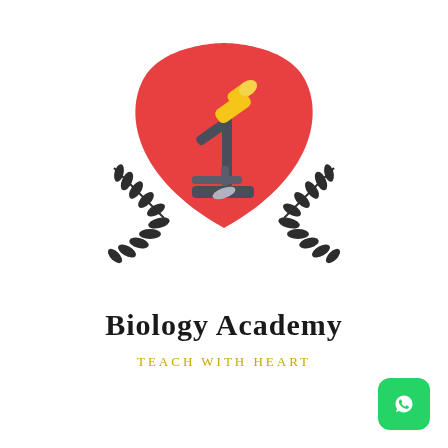[Figure (logo): Biology Academy logo: a red shield containing a yellow and grey microscope, flanked by two dark olive/black laurel wreaths on either side]
Biology Academy
TEACH WITH HEART
[Figure (logo): WhatsApp logo icon in bottom right corner: green rounded square background with white phone handset surrounded by speech bubble]